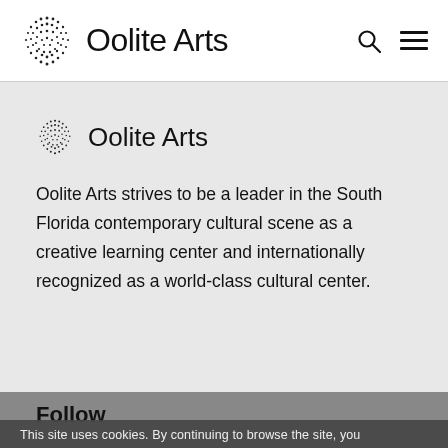Oolite Arts
[Figure (logo): Oolite Arts logo with dot-pattern sphere and text 'Oolite Arts']
Oolite Arts strives to be a leader in the South Florida contemporary cultural scene as a creative learning center and internationally recognized as a world-class cultural center.
Follow
This site uses cookies. By continuing to browse the site, you are agreeing to our use of cookies.